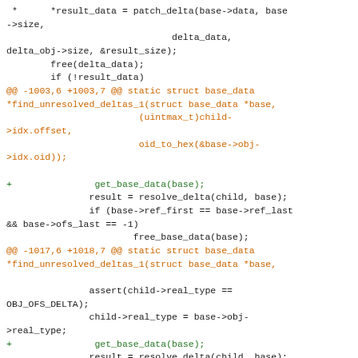[Figure (screenshot): A code diff snippet showing changes to C source code involving delta resolution and base data management functions, displayed with syntax highlighting: green for added lines, orange for diff hunk headers, blue for function context, and black for unchanged lines.]